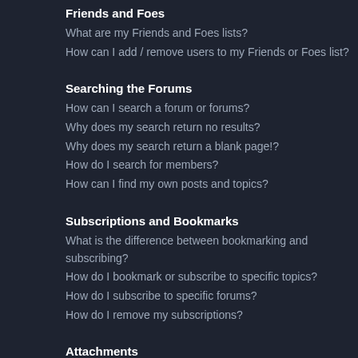Friends and Foes
What are my Friends and Foes lists?
How can I add / remove users to my Friends or Foes list?
Searching the Forums
How can I search a forum or forums?
Why does my search return no results?
Why does my search return a blank page!?
How do I search for members?
How can I find my own posts and topics?
Subscriptions and Bookmarks
What is the difference between bookmarking and subscribing?
How do I bookmark or subscribe to specific topics?
How do I subscribe to specific forums?
How do I remove my subscriptions?
Attachments
What attachments are allowed on this board?
How do I find all my attachments?